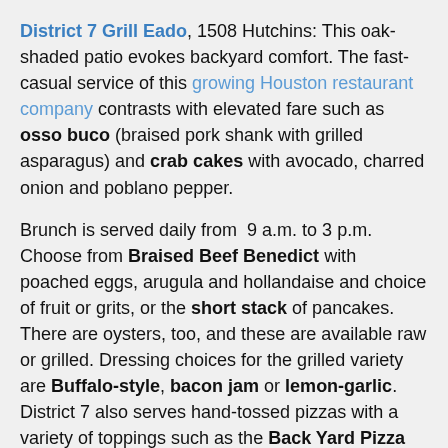District 7 Grill Eado, 1508 Hutchins: This oak-shaded patio evokes backyard comfort. The fast-casual service of this growing Houston restaurant company contrasts with elevated fare such as osso buco (braised pork shank with grilled asparagus) and crab cakes with avocado, charred onion and poblano pepper.
Brunch is served daily from 9 a.m. to 3 p.m. Choose from Braised Beef Benedict with poached eggs, arugula and hollandaise and choice of fruit or grits, or the short stack of pancakes. There are oysters, too, and these are available raw or grilled. Dressing choices for the grilled variety are Buffalo-style, bacon jam or lemon-garlic. District 7 also serves hand-tossed pizzas with a variety of toppings such as the Back Yard Pizza with artichoke, spinach, tomatoes, garlic, mushrooms, Parmesan, pepperoncini, shredded mozzarella and red sauce.